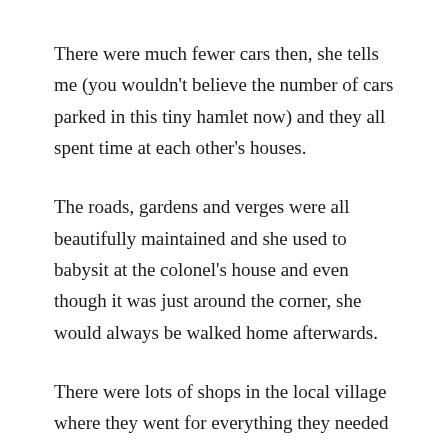There were much fewer cars then, she tells me (you wouldn't believe the number of cars parked in this tiny hamlet now) and they all spent time at each other's houses.
The roads, gardens and verges were all beautifully maintained and she used to babysit at the colonel's house and even though it was just around the corner, she would always be walked home afterwards.
There were lots of shops in the local village where they went for everything they needed (just one shop now) and she remembers huge numbers of puffball mushrooms (she hasn't seen a single one here in years).